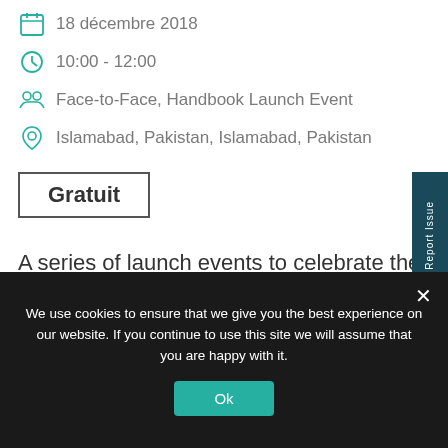18 décembre 2018
10:00 - 12:00
Face-to-Face, Handbook Launch Event
Islamabad, Pakistan, Islamabad, Pakistan
Gratuit
A series of launch events to celebrate the publication of the Sphere Handbook 2018 will be organised across Pakistan by Community...
We use cookies to ensure that we give you the best experience on our website. If you continue to use this site we will assume that you are happy with it.